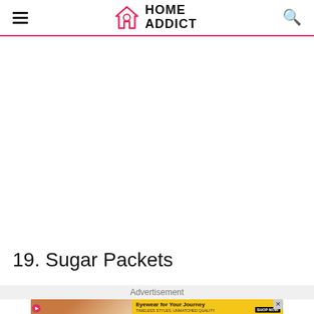HOME ADDICT
19. Sugar Packets
[Figure (other): Advertisement banner showing two women wearing sunglasses with text 'Eyewear for Your Journey. TIMELESS STYLES, UNMATCHED QUALITY. SHOP NOW']
Advertisement